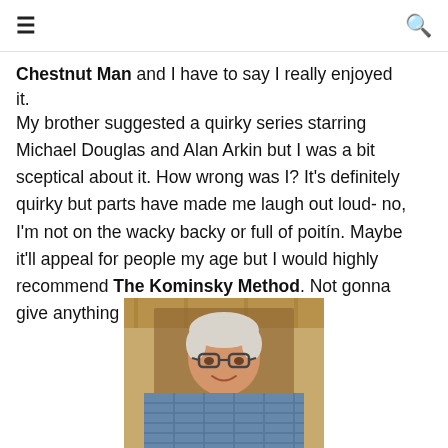≡  [search icon]
Chestnut Man and I have to say I really enjoyed it.
My brother suggested a quirky series starring Michael Douglas and Alan Arkin but I was a bit sceptical about it. How wrong was I? It's definitely quirky but parts have made me laugh out loud- no, I'm not on the wacky backy or full of poitín. Maybe it'll appeal for people my age but I would highly recommend The Kominsky Method. Not gonna give anything away ... Enjoy!
[Figure (photo): Portrait photo of a middle-aged man with white/grey hair, glasses, and a checked shirt, smiling, seated indoors with a warm-toned wooden background.]